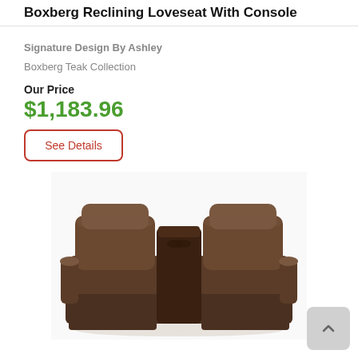Boxberg Reclining Loveseat With Console
Signature Design By Ashley
Boxberg Teak Collection
Our Price
$1,183.96
See Details
[Figure (photo): Front view of the Boxberg Reclining Loveseat with Console in dark brown leather-like upholstery, showing two reclining seats with a center console, padded armrests, and footrests extended slightly.]